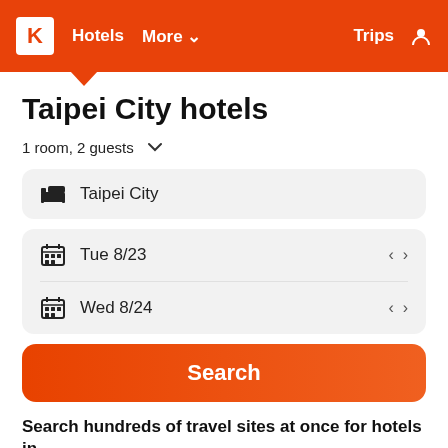K  Hotels  More ∨  Trips  [user icon]
Taipei City hotels
1 room, 2 guests  ∨
Taipei City
Tue 8/23
Wed 8/24
Search
Search hundreds of travel sites at once for hotels in